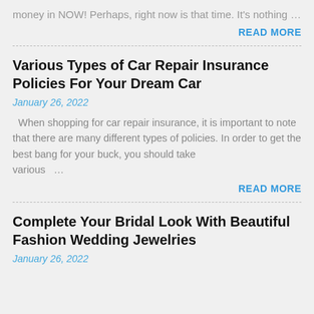money in NOW! Perhaps, right now is that time. It's nothing …
READ MORE
Various Types of Car Repair Insurance Policies For Your Dream Car
January 26, 2022
When shopping for car repair insurance, it is important to note that there are many different types of policies. In order to get the best bang for your buck, you should take various …
READ MORE
Complete Your Bridal Look With Beautiful Fashion Wedding Jewelries
January 26, 2022